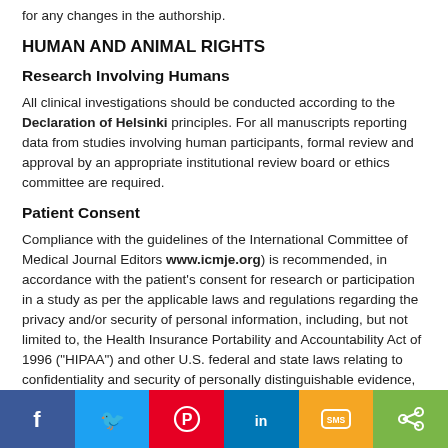for any changes in the authorship.
HUMAN AND ANIMAL RIGHTS
Research Involving Humans
All clinical investigations should be conducted according to the Declaration of Helsinki principles. For all manuscripts reporting data from studies involving human participants, formal review and approval by an appropriate institutional review board or ethics committee are required.
Patient Consent
Compliance with the guidelines of the International Committee of Medical Journal Editors www.icmje.org) is recommended, in accordance with the patient's consent for research or participation in a study as per the applicable laws and regulations regarding the privacy and/or security of personal information, including, but not limited to, the Health Insurance Portability and Accountability Act of 1996 ("HIPAA") and other U.S. federal and state laws relating to confidentiality and security of personally distinguishable evidence, the General Data Protection Regulation (GDPR) (EU) 2016/679 and member state implementing legislation